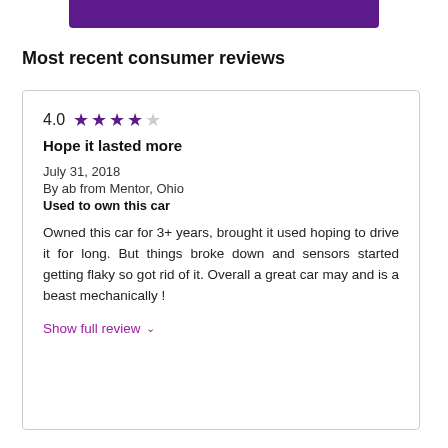[Figure (other): Purple decorative bar at top of page]
Most recent consumer reviews
4.0 ★★★★☆
Hope it lasted more
July 31, 2018
By ab from Mentor, Ohio
Used to own this car

Owned this car for 3+ years, brought it used hoping to drive it for long. But things broke down and sensors started getting flaky so got rid of it. Overall a great car may and is a beast mechanically !

Show full review ∨